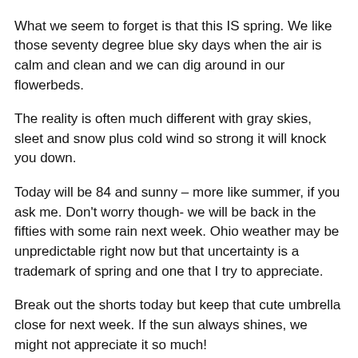endless complaints about it.
What we seem to forget is that this IS spring. We like those seventy degree blue sky days when the air is calm and clean and we can dig around in our flowerbeds.
The reality is often much different with gray skies, sleet and snow plus cold wind so strong it will knock you down.
Today will be 84 and sunny – more like summer, if you ask me. Don't worry though- we will be back in the fifties with some rain next week. Ohio weather may be unpredictable right now but that uncertainty is a trademark of spring and one that I try to appreciate.
Break out the shorts today but keep that cute umbrella close for next week. If the sun always shines, we might not appreciate it so much!